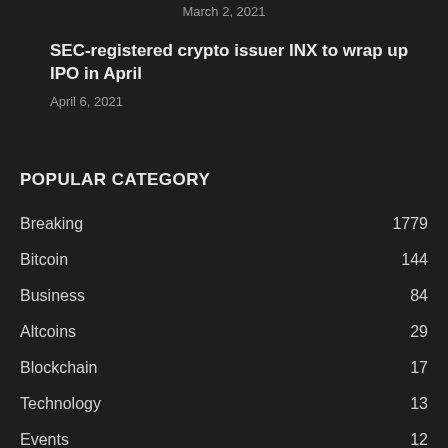March 2, 2021
SEC-registered crypto issuer INX to wrap up IPO in April
April 6, 2021
POPULAR CATEGORY
Breaking 1779
Bitcoin 144
Business 84
Altcoins 29
Blockchain 17
Technology 13
Events 12
Mining 10